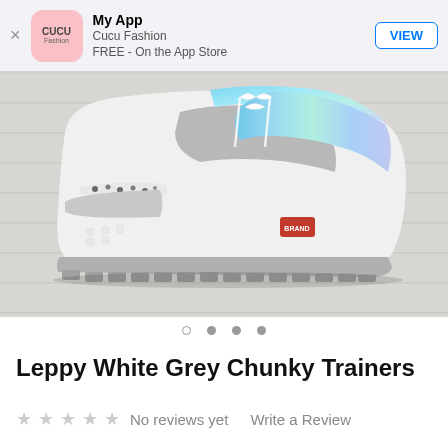My App — Cucu Fashion — FREE - On the App Store — VIEW
[Figure (photo): Close-up photo of a white and grey chunky trainer/sneaker with holographic iridescent blue accents, leopard print detail, and thick chunky grey sole, placed on a light grey wood-effect surface.]
Leppy White Grey Chunky Trainers
No reviews yet   Write a Review